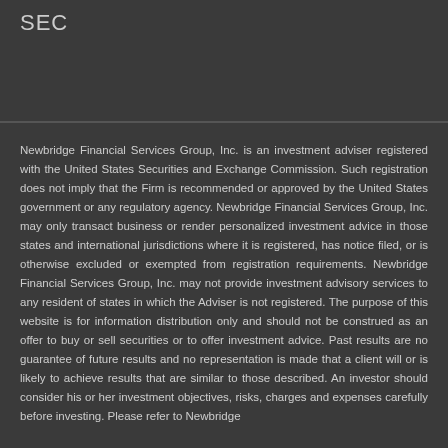SEC
Newbridge Financial Services Group, Inc. is an investment adviser registered with the United States Securities and Exchange Commission. Such registration does not imply that the Firm is recommended or approved by the United States government or any regulatory agency. Newbridge Financial Services Group, Inc. may only transact business or render personalized investment advice in those states and international jurisdictions where it is registered, has notice filed, or is otherwise excluded or exempted from registration requirements. Newbridge Financial Services Group, Inc. may not provide investment advisory services to any resident of states in which the Adviser is not registered. The purpose of this website is for information distribution only and should not be construed as an offer to buy or sell securities or to offer investment advice. Past results are no guarantee of future results and no representation is made that a client will or is likely to achieve results that are similar to those described. An investor should consider his or her investment objectives, risks, charges and expenses carefully before investing. Please refer to Newbridge